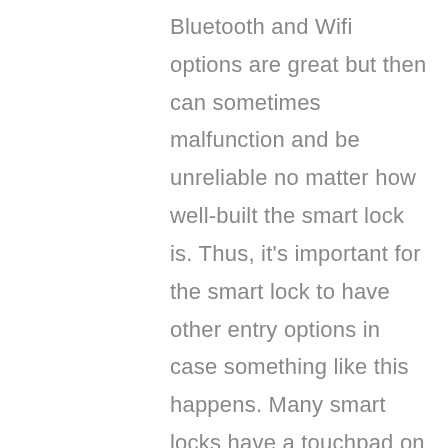Bluetooth and Wifi options are great but then can sometimes malfunction and be unreliable no matter how well-built the smart lock is. Thus, it's important for the smart lock to have other entry options in case something like this happens. Many smart locks have a touchpad on which you can enter an access code to gain entry. Other smart locks give you the option to install them onto the existing deadbolt lock that you have on your door. This allows you to keep your existing mechanical key. Thus, if the